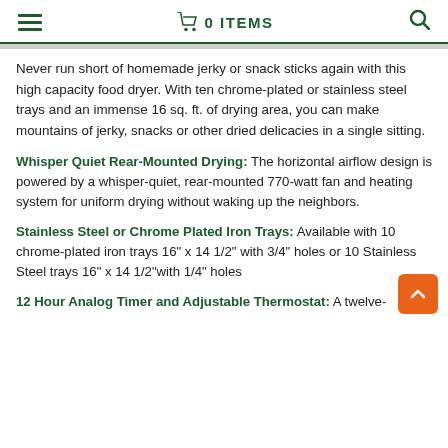≡  🛒 0 ITEMS  🔍
Never run short of homemade jerky or snack sticks again with this high capacity food dryer. With ten chrome-plated or stainless steel trays and an immense 16 sq. ft. of drying area, you can make mountains of jerky, snacks or other dried delicacies in a single sitting.
Whisper Quiet Rear-Mounted Drying: The horizontal airflow design is powered by a whisper-quiet, rear-mounted 770-watt fan and heating system for uniform drying without waking up the neighbors.
Stainless Steel or Chrome Plated Iron Trays: Available with 10 chrome-plated iron trays 16" x 14 1/2" with 3/4" holes or 10 Stainless Steel trays 16" x 14 1/2"with 1/4" holes
12 Hour Analog Timer and Adjustable Thermostat: A twelve-